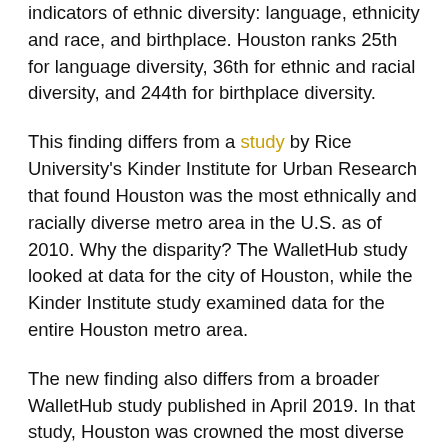indicators of ethnic diversity: language, ethnicity and race, and birthplace. Houston ranks 25th for language diversity, 36th for ethnic and racial diversity, and 244th for birthplace diversity.
This finding differs from a study by Rice University's Kinder Institute for Urban Research that found Houston was the most ethnically and racially diverse metro area in the U.S. as of 2010. Why the disparity? The WalletHub study looked at data for the city of Houston, while the Kinder Institute study examined data for the entire Houston metro area.
The new finding also differs from a broader WalletHub study published in April 2019. In that study, Houston was crowned the most diverse city in the U.S., based on socioeconomic, cultural, economic, household, and religious diversity. Ethnic diversity is only one